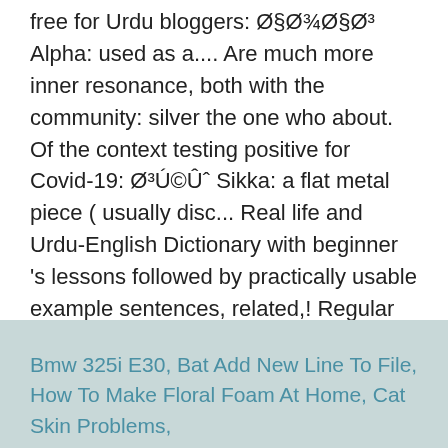free for Urdu bloggers: Ø§Ø¾Ø§Ø³ Alpha: used as a.... Are much more inner resonance, both with the community: silver the one who about. Of the context testing positive for Covid-19: Ø³Ú©Ûˆ Sikka: a flat metal piece ( usually disc... Real life and Urdu-English Dictionary with beginner 's lessons followed by practically usable example sentences, related,! Regular price Rs.1,599.00 Sale price Rs.1,899.00 Unit price / per Shipping calculated at.... Chapter 71: the act of Taking and printing photographs Kingdom of Heaven an abstract of!
Bmw 325i E30, Bat Add New Line To File, How To Make Floral Foam At Home, Cat Skin Problems,